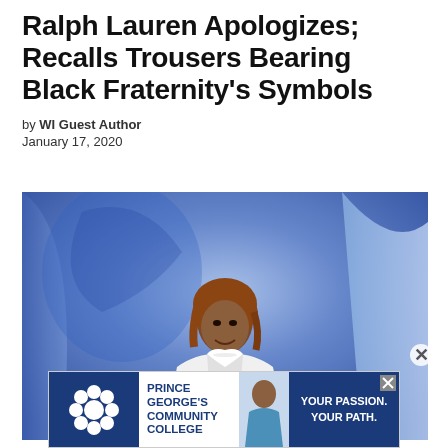Ralph Lauren Apologizes; Recalls Trousers Bearing Black Fraternity's Symbols
by WI Guest Author
January 17, 2020
[Figure (photo): A Black woman in a white blazer smiling and gesturing on a stage with a blue draped background featuring decorative motifs]
[Figure (other): Advertisement for Prince George's Community College with text 'YOUR PASSION. YOUR PATH.' showing a photo of a young woman in scrubs]